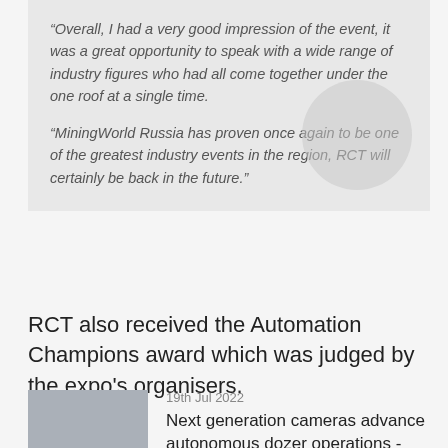“Overall, I had a very good impression of the event, it was a great opportunity to speak with a wide range of industry figures who had all come together under the one roof at a single time.

“MiningWorld Russia has proven once again to be one of the greatest industry events in the region, RCT will certainly be back in the future.”
RCT also received the Automation Champions award which was judged by the expo's organisers.
19th Jul 2022
Next generation cameras advance autonomous dozer operations - Florida, USA